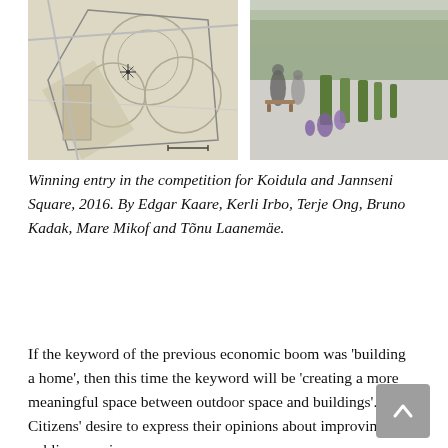[Figure (photo): Architectural site plan (top view) of Koidula and Jannseni Square competition entry, showing layout with circular elements and pathways.]
[Figure (photo): Rendered perspective view of the winning design for Koidula and Jannseni Square, showing people sitting in a landscaped public space with green hedges, flowers, and trees.]
Winning entry in the competition for Koidula and Jannseni Square, 2016. By Edgar Kaare, Kerli Irbo, Terje Ong, Bruno Kadak, Mare Mikof and Tõnu Laanemäe.
If the keyword of the previous economic boom was 'building a home', then this time the keyword will be 'creating a more meaningful space between outdoor space and buildings'. Citizens' desire to express their opinions about improving public space is